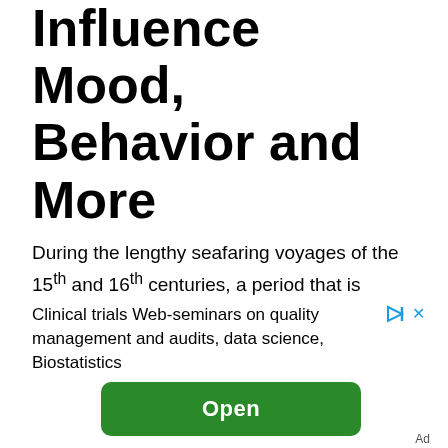Influence Mood, Behavior and More
During the lengthy seafaring voyages of the 15th and 16th centuries, a period that is known as the Age of Discovery, sailors experienced visions of…
[Figure (screenshot): Advertisement banner for clinical trials web-seminars. Text reads: 'Clinical trials Web-seminars on quality management and audits, data science, Biostatistics' with a green 'Open' button and 'Ad' label.]